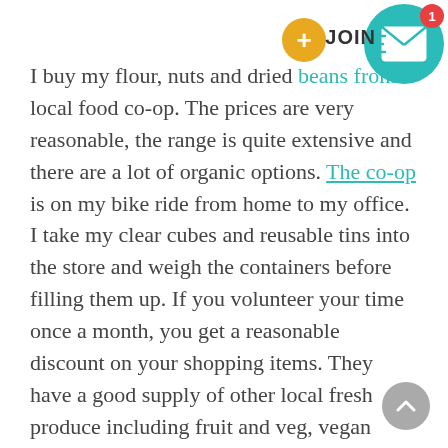I buy my flour, nuts and dried beans from a local food co-op. The prices are very reasonable, the range is quite extensive and there are a lot of organic options. The co-op is on my bike ride from home to my office. I take my clear cubes and reusable tins into the store and weigh the containers before filling them up. If you volunteer your time once a month, you get a reasonable discount on your shopping items. They have a good supply of other local fresh produce including fruit and veg, vegan cheeses, tofu and fermented foods. They also have bulk liquids like honey, vinegars, and molasses that you can pour into your own reusable jars and bottles.
[Figure (infographic): JOIN button (yellow circle with plus sign), teal envelope icon circle with red notification badge showing '1', and a grey scroll-to-top button in the bottom right corner]